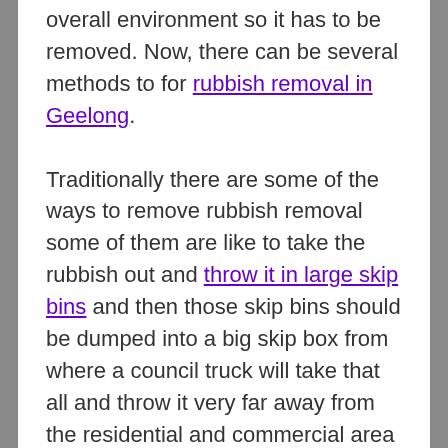overall environment so it has to be removed. Now, there can be several methods to for rubbish removal in Geelong.
Traditionally there are some of the ways to remove rubbish removal some of them are like to take the rubbish out and throw it in large skip bins and then those skip bins should be dumped into a big skip box from where a council truck will take that all and throw it very far away from the residential and commercial area where there is further processing been done to remove the bacteria and other infections. But this way was not good because no matter you are dumping your skip bin into large or that large skip box been unloaded through truck, there always been a pollution which caused and that can only be removed from proper cleaning through such